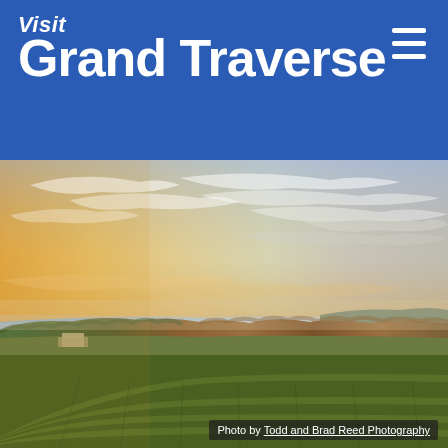Visit Grand Traverse
[Figure (photo): Panoramic landscape photo of a vineyard in the foreground with rows of grapevines, a forest of autumn-colored trees in the middle ground, a lake visible on the horizon, and a dramatic sunset sky with wispy clouds and warm golden orange light on the left side.]
Photo by Todd and Brad Reed Photography